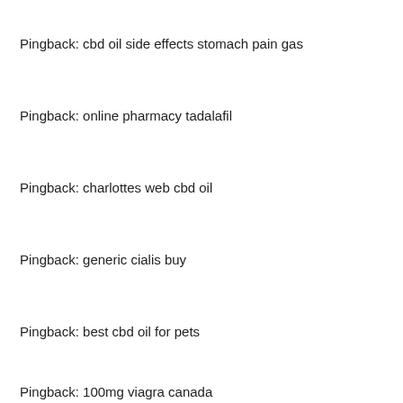Pingback: cbd oil side effects stomach pain gas
Pingback: online pharmacy tadalafil
Pingback: charlottes web cbd oil
Pingback: generic cialis buy
Pingback: best cbd oil for pets
Pingback: 100mg viagra canada